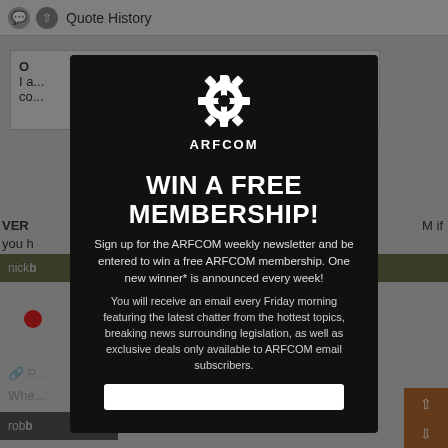Quote History
O... I a... co...
VER... M if you h...
[Figure (screenshot): ARFCOM modal popup overlay with dark background, ARFCOM gear logo, WIN A FREE MEMBERSHIP! heading, subscription text, and email input field.]
Sign up for the ARFCOM weekly newsletter and be entered to win a free ARFCOM membership. One new winner* is announced every week!
You will receive an email every Friday morning featuring the latest chatter from the hottest topics, breaking news surrounding legislation, as well as exclusive deals only available to ARFCOM email subscribers.